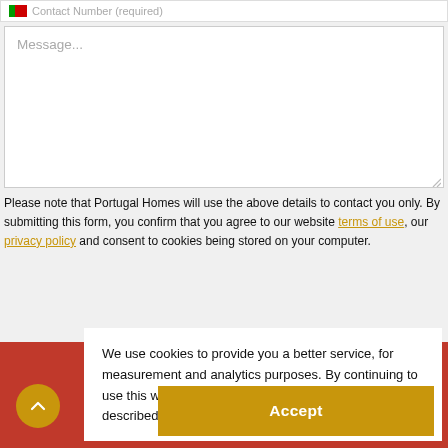[Figure (screenshot): Contact number input field partially visible at top with Portuguese flag icon and placeholder text]
[Figure (screenshot): Message textarea with placeholder text 'Message...' and resize handle]
Please note that Portugal Homes will use the above details to contact you only. By submitting this form, you confirm that you agree to our website terms of use, our privacy policy and consent to cookies being stored on your computer.
We use cookies to provide you a better service, for measurement and analytics purposes. By continuing to use this website you consent to our use of cookies as described in our Privacy Policy.
Accept